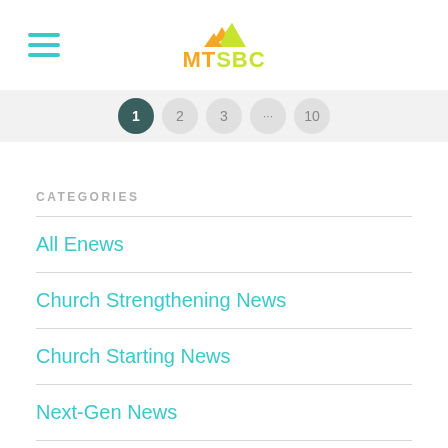MTSBC
[Figure (other): Pagination bar with page buttons: 1 (active, dark), 2, 3, ..., 10]
CATEGORIES
All Enews
Church Strengthening News
Church Starting News
Next-Gen News
ARCHIVES